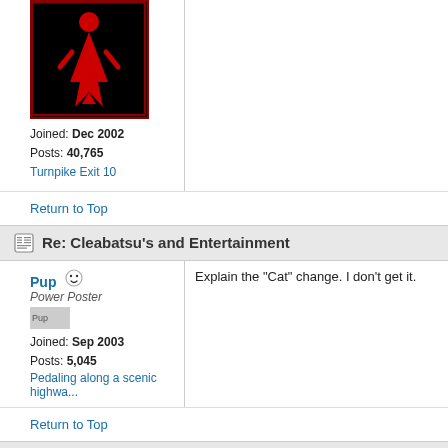[Figure (illustration): User avatar: red humanoid figure on black background]
Joined: Dec 2002
Posts: 40,765
Turnpike Exit 10
Return to Top
Re: Cleabatsu's and Entertainment
Pup
Power Poster
Joined: Sep 2003
Posts: 5,045
Pedaling along a scenic highwa...
Explain the "Cat" change. I don't get it.
Return to Top
Re: Cleabatsu's and Entertainment
P*O
Yeah, relax Jeremy buddy. It's only tempo